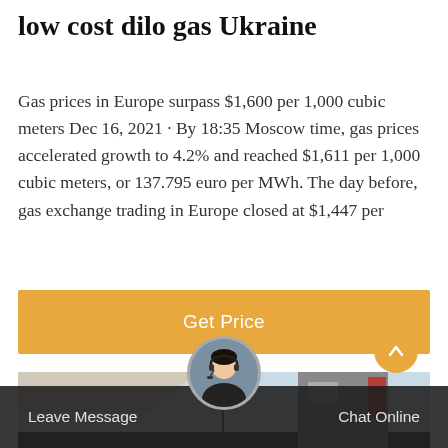low cost dilo gas Ukraine
Gas prices in Europe surpass $1,600 per 1,000 cubic meters Dec 16, 2021 · By 18:35 Moscow time, gas prices accelerated growth to 4.2% and reached $1,611 per 1,000 cubic meters, or 137.795 euro per MWh. The day before, gas exchange trading in Europe closed at $1,447 per
[Figure (other): Orange 'Get Price' call-to-action button]
[Figure (photo): Outdoor scene showing industrial or utility structures against a light blue sky, with a communications tower visible]
Leave Message  Chat Online